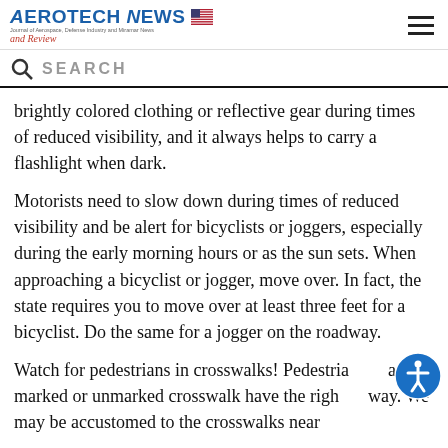Aerotech News and Review
SEARCH
brightly colored clothing or reflective gear during times of reduced visibility, and it always helps to carry a flashlight when dark.
Motorists need to slow down during times of reduced visibility and be alert for bicyclists or joggers, especially during the early morning hours or as the sun sets. When approaching a bicyclist or jogger, move over. In fact, the state requires you to move over at least three feet for a bicyclist. Do the same for a jogger on the roadway.
Watch for pedestrians in crosswalks! Pedestrians in a marked or unmarked crosswalk have the right of way. We may be accustomed to the crosswalks near